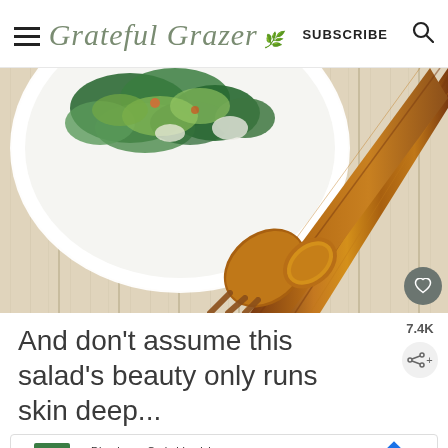Grateful Grazer | SUBSCRIBE
[Figure (photo): Overhead view of a salad plate with green leaves on a white wood surface, with wooden salad serving spoon and fork utensils beside it.]
And don't assume this salad's beauty only runs skin deep...
[Figure (other): Advertisement banner for True Food Kitchen showing dine-in, curbside pickup, and delivery options with logo and navigation icon.]